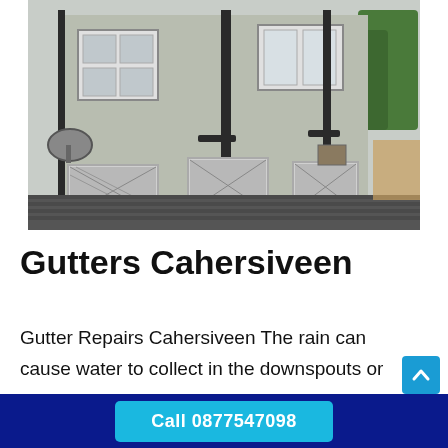[Figure (photo): Exterior photo of a two-storey semi-detached house with pebbledash render, windows with diamond-pattern security grilles, dark drainpipes/downspouts, a satellite dish, and a corrugated roof overhang at the front. Trees visible in background.]
Gutters Cahersiveen
Gutter Repairs Cahersiveen The rain can cause water to collect in the downspouts or gutters on your home's roof. This can lead
Call 0877547098